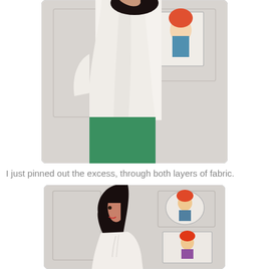[Figure (photo): A woman viewed from the side/back wearing a cream/white structured jacket and green textured skirt, standing in front of a white paneled wall with a framed illustration of a girl with a red hat visible on the right side.]
I just pinned out the excess, through both layers of fabric.
[Figure (photo): A woman with dark hair viewed from the side wearing a cream/white jacket with ruffles, standing in front of a white paneled wall with two framed oval and rectangular illustrations of girls with red hats visible on the wall behind her.]